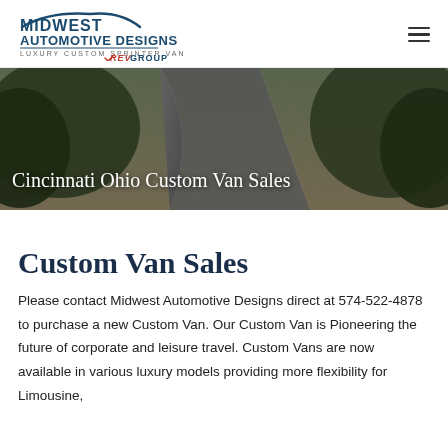MIDWEST AUTOMOTIVE DESIGNS | LUXURY CUSTOM SPRINTER VANS | REV GROUP
[Figure (photo): Aerial/road photo background with winding road through forested area, used as hero banner image for Cincinnati Ohio Custom Van Sales page]
Cincinnati Ohio Custom Van Sales
Custom Van Sales
Please contact Midwest Automotive Designs direct at 574-522-4878 to purchase a new Custom Van. Our Custom Van is Pioneering the future of corporate and leisure travel. Custom Vans are now available in various luxury models providing more flexibility for Limousine,